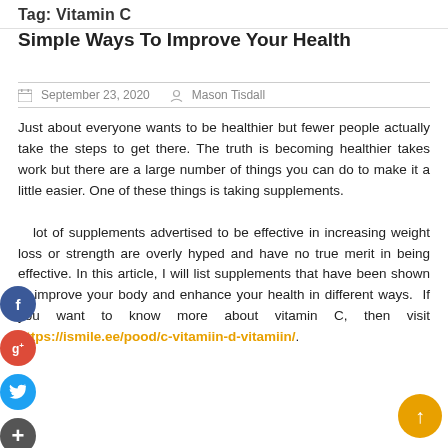Tag: Vitamin C
Simple Ways To Improve Your Health
September 23, 2020   Mason Tisdall
Just about everyone wants to be healthier but fewer people actually take the steps to get there. The truth is becoming healthier takes work but there are a large number of things you can do to make it a little easier. One of these things is taking supplements.

A lot of supplements advertised to be effective in increasing weight loss or strength are overly hyped and have no true merit in being effective. In this article, I will list supplements that have been shown to improve your body and enhance your health in different ways. If you want to know more about vitamin C, then visit https://ismile.ee/pood/c-vitamiin-d-vitamiin/.